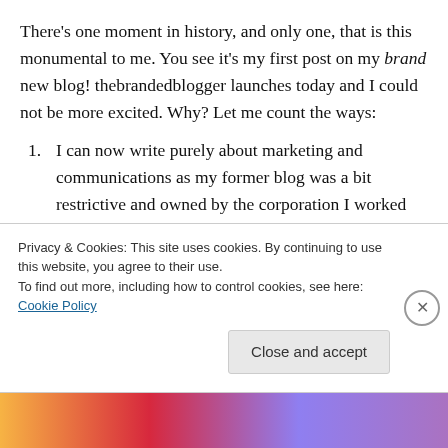There's one moment in history, and only one, that is this monumental to me. You see it's my first post on my brand new blog! thebrandedblogger launches today and I could not be more excited. Why? Let me count the ways:
I can now write purely about marketing and communications as my former blog was a bit restrictive and owned by the corporation I worked for.
I can also use any kind of language I damn well please (see #1) however, I will keep it “R”-rated for the most part.
Privacy & Cookies: This site uses cookies. By continuing to use this website, you agree to their use.
To find out more, including how to control cookies, see here: Cookie Policy
Close and accept